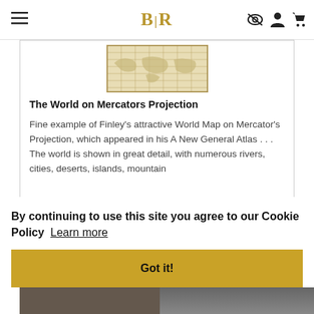BLR
[Figure (illustration): Partial view of an antique world map on Mercator's Projection, showing a yellowed parchment-style map with grid lines and geographic detail.]
The World on Mercators Projection
Fine example of Finley's attractive World Map on Mercator's Projection, which appeared in his A New General Atlas . . . The world is shown in great detail, with numerous rivers, cities, deserts, islands, mountain
By continuing to use this site you agree to our Cookie Policy  Learn more
Got it!
[Figure (photo): Partial view of a second antique map or illustration at the bottom of the page, partially cut off.]